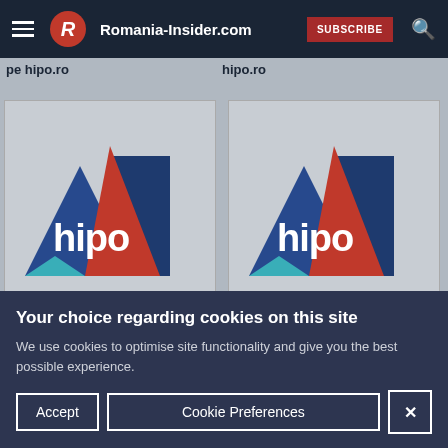Romania-Insider.com — SUBSCRIBE
pe hipo.ro
hipo.ro
[Figure (logo): hipo.ro logo: geometric triangles in blue and red with white 'hipo' text]
[Figure (logo): hipo.ro logo: geometric triangles in blue and red with white 'hipo' text]
Your choice regarding cookies on this site
We use cookies to optimise site functionality and give you the best possible experience.
Accept
Cookie Preferences